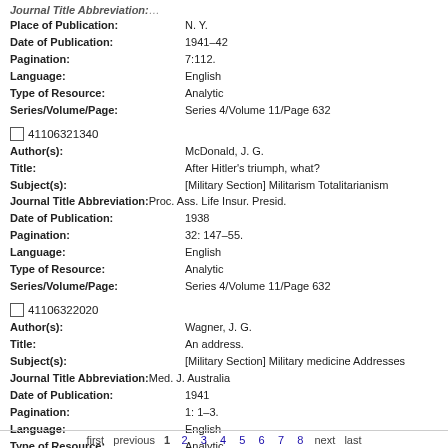Journal Title Abbreviation: [truncated]
Place of Publication: N. Y.
Date of Publication: 1941-42
Pagination: 7:112.
Language: English
Type of Resource: Analytic
Series/Volume/Page: Series 4/Volume 11/Page 632
41106321340
Author(s): McDonald, J. G.
Title: After Hitler's triumph, what?
Subject(s): [Military Section] Militarism Totalitarianism
Journal Title Abbreviation: Proc. Ass. Life Insur. Presid.
Date of Publication: 1938
Pagination: 32: 147-55.
Language: English
Type of Resource: Analytic
Series/Volume/Page: Series 4/Volume 11/Page 632
41106322020
Author(s): Wagner, J. G.
Title: An address.
Subject(s): [Military Section] Military medicine Addresses
Journal Title Abbreviation: Med. J. Australia
Date of Publication: 1941
Pagination: 1: 1-3.
Language: English
Type of Resource: Analytic
Series/Volume/Page: Series 4/Volume 11/Page 632
first  previous  1  2  3  4  5  6  7  8  next  last